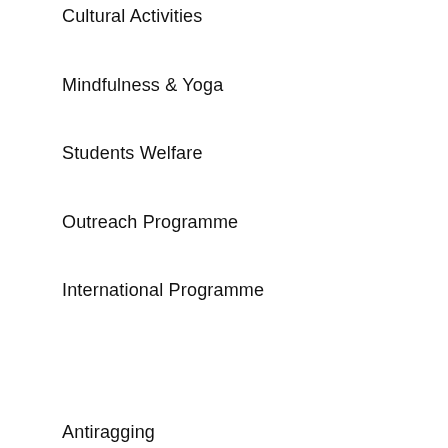Cultural Activities
Mindfulness & Yoga
Students Welfare
Outreach Programme
International Programme
Antiragging
Grievance Redressal
Women Welfare
Rotaract